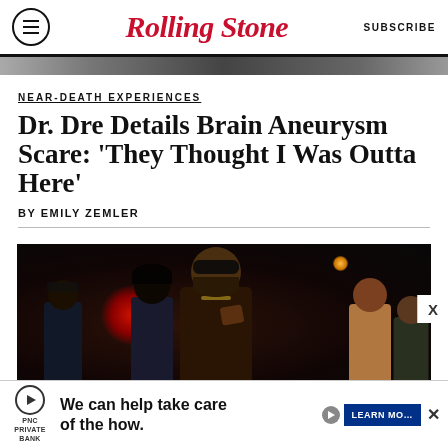Rolling Stone — SUBSCRIBE
[Figure (photo): Partial hero image strip at top of article]
NEAR-DEATH EXPERIENCES
Dr. Dre Details Brain Aneurysm Scare: 'They Thought I Was Outta Here'
BY EMILY ZEMLER
[Figure (photo): Photo of a man wearing sunglasses at an event/party with crowd in background, dim lighting with red orb light visible]
[Figure (other): PNC Private Bank advertisement: We can help take care of the how. LEARN MORE button.]